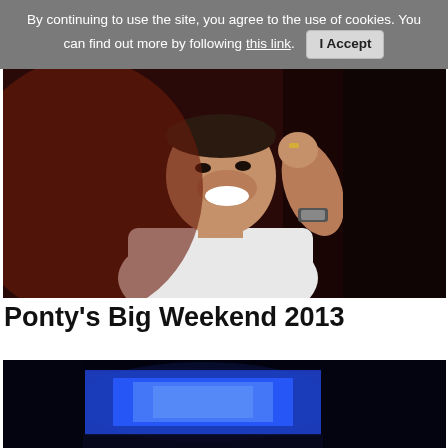By continuing to use the site, you agree to the use of cookies. You can find out more by following this link. I Accept
[Figure (photo): A smiling man in a white t-shirt against a dark reddish background, hand raised near his ear with a ring and watch visible.]
Ponty's Big Weekend 2013
[Figure (photo): A dark stage scene with bright blue LED screen/display panel visible against a black background.]